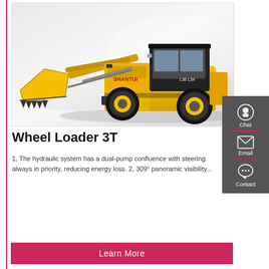[Figure (photo): Yellow Shantui Wheel Loader 3T construction vehicle with large front bucket, photographed on grey/white background]
Wheel Loader 3T
1, The hydraulic system has a dual-pump confluence with steering always in priority, reducing energy loss. 2, 309° panoramic visibility...
Learn More